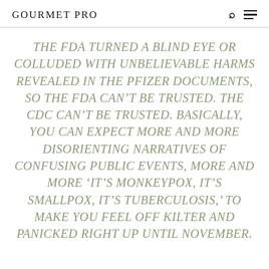GOURMET PRO
THE FDA TURNED A BLIND EYE OR COLLUDED WITH UNBELIEVABLE HARMS REVEALED IN THE PFIZER DOCUMENTS, SO THE FDA CAN'T BE TRUSTED. THE CDC CAN'T BE TRUSTED. BASICALLY, YOU CAN EXPECT MORE AND MORE DISORIENTING NARRATIVES OF CONFUSING PUBLIC EVENTS, MORE AND MORE 'IT'S MONKEYPOX, IT'S SMALLPOX, IT'S TUBERCULOSIS,' TO MAKE YOU FEEL OFF KILTER AND PANICKED RIGHT UP UNTIL NOVEMBER.